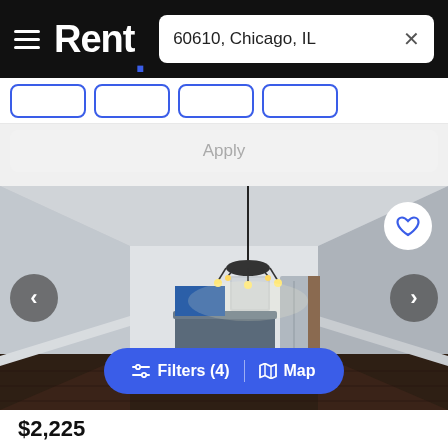Rent. | 60610, Chicago, IL
[Figure (screenshot): Rent.com mobile app screenshot showing apartment listing search for 60610, Chicago, IL with filter chips, Apply button, interior photo of empty apartment with dark wood floors, chandelier, and open kitchen, plus navigation arrows and Filters/Map button at bottom]
$2,225